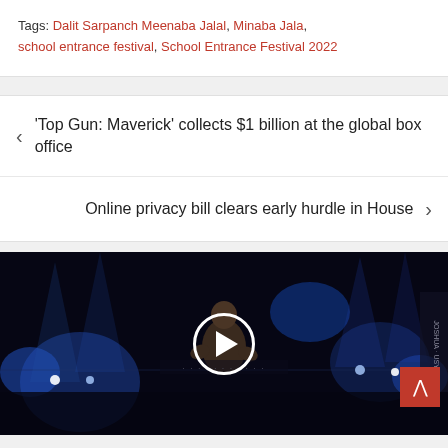Tags: Dalit Sarpanch Meenaba Jalal, Minaba Jala, school entrance festival, School Entrance Festival 2022
‹ 'Top Gun: Maverick' collects $1 billion at the global box office
Online privacy bill clears early hurdle in House ›
[Figure (photo): Dark arena/boxing event scene with a shirtless boxer lit by blue stage lights, a play button overlay in the center, and a red scroll-up button in the bottom right. Text 'JOSHUA USYK' visible on banner at right.]